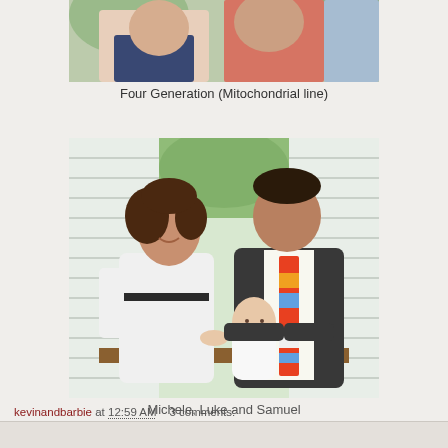[Figure (photo): Partial photo of people, a child in dark shirt and adults, cropped at top — Four Generation (Mitochondrial line)]
Four Generation (Mitochondrial line)
[Figure (photo): Family photo of Michele, Luke and Samuel — woman in white dress and man in dark suit holding a baby with colorful striped tie, seated outdoors with shutters in background]
Michele, Luke and Samuel
kevinandbarbie at 12:59 AM    3 comments: